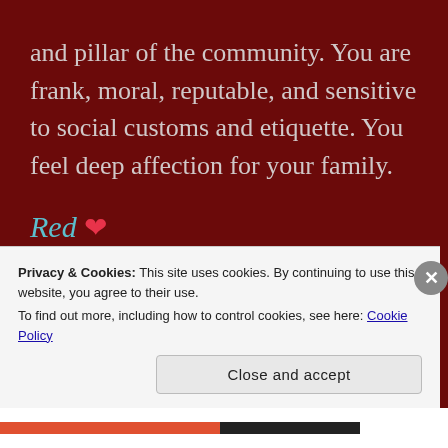and pillar of the community. You are frank, moral, reputable, and sensitive to social customs and etiquette. You feel deep affection for your family.
Red ♥
You have drive and determination, and you prefer action and risk-taking behaviors. Your biggest need is for physical fulfillment and fitness. Red shows that you're outgoing, assertive, vigorous
Privacy & Cookies: This site uses cookies. By continuing to use this website, you agree to their use.
To find out more, including how to control cookies, see here: Cookie Policy